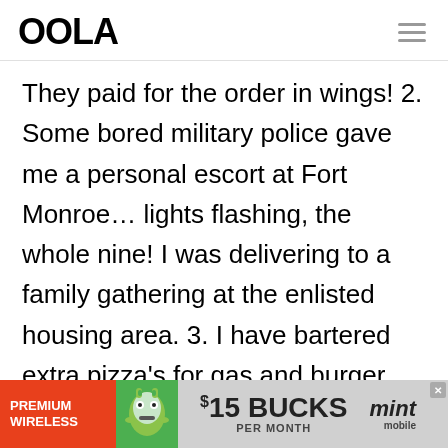OOLA
They paid for the order in wings! 2. Some bored military police gave me a personal escort at Fort Monroe… lights flashing, the whole nine! I was delivering to a family gathering at the enlisted housing area. 3. I have bartered extra pizza's for gas and burger king. At the time, a large
[Figure (infographic): Mint Mobile advertisement banner: PREMIUM WIRELESS | mascot illustration | $15 BUCKS PER MONTH | mint mobile logo]